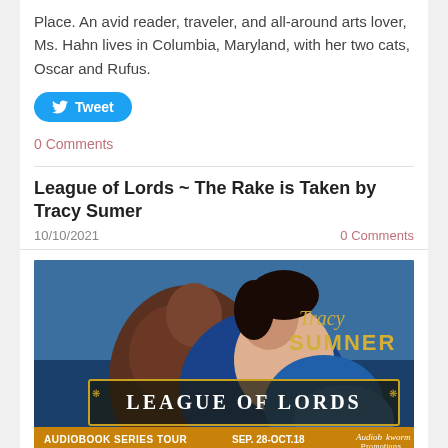Place. An avid reader, traveler, and all-around arts lover, Ms. Hahn lives in Columbia, Maryland, with her two cats, Oscar and Rufus.
[Figure (other): Twitter Tweet button in blue rounded rectangle]
0 Comments
League of Lords ~ The Rake is Taken by Tracy Sumer
10/10/2021
0 Comments
[Figure (photo): Book cover for League of Lords by Tracy Sumner. Shows a romantic couple embracing, the woman in a blue satin dress. Text reads Tracy Sumner, League of Lords, Audiobook Series Tour Sep. 28-Oct. 18, Audiobookworm Promotions.]